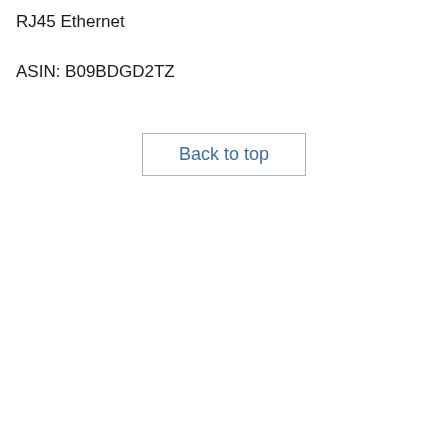RJ45 Ethernet
ASIN: B09BDGD2TZ
Back to top